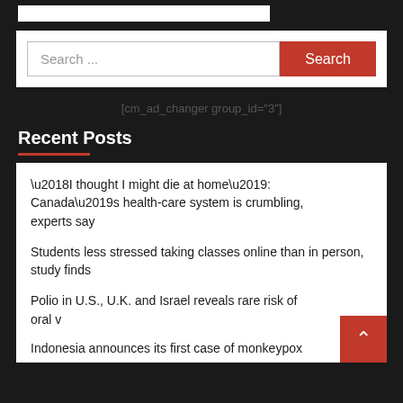[Figure (screenshot): Search bar with text input field showing 'Search ...' placeholder and a red Search button]
[cm_ad_changer group_id="3"]
Recent Posts
‘I thought I might die at home’: Canada’s health-care system is crumbling, experts say
Students less stressed taking classes online than in person, study finds
Polio in U.S., U.K. and Israel reveals rare risk of oral v
Indonesia announces its first case of monkeypox